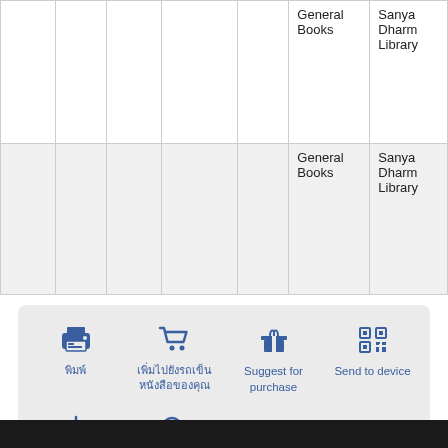|  |  |  |  |  | General Books | Sanya Dharm Library |
| --- | --- | --- | --- | --- | --- | --- |
|  |  |  |  |  | General Books | Sanya Dharm Library |
|  |  |  |  |  | General Books | Sanya Dharm Library |
[Figure (infographic): Action panel with 6 icon buttons: Print (พิมพ์), Add to cart (เพิ่มไปยังรถเข็นหนังสือของคุณ), Suggest for purchase, Send to device, Save record (บันทึกระเบียนบรรณานุกรม), Related search (การค้นหาที่เกี่ยวข้อง)]